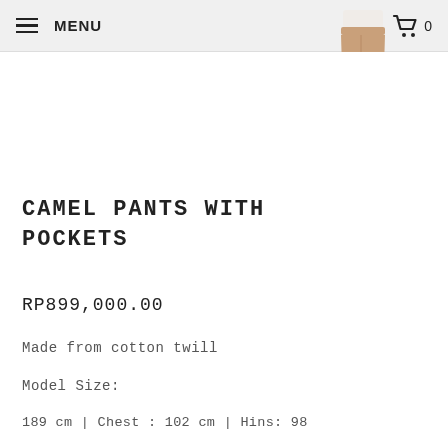MENU  0
[Figure (photo): Small thumbnail image of camel-colored pants worn by a model, shown from waist down, positioned in upper right area of the page.]
CAMEL PANTS WITH POCKETS
RP899,000.00
Made from cotton twill
Model Size:
189 cm | Chest : 102 cm | Hins: 98